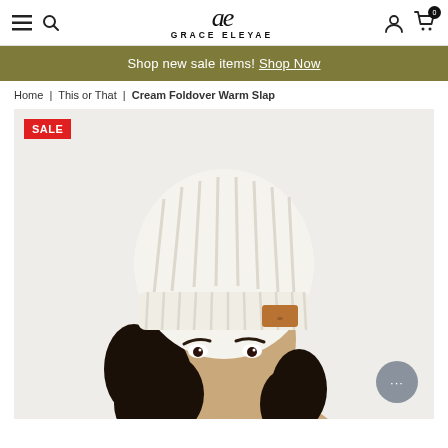GRACE ELEYAE — navigation header with menu, search, account, and cart icons
Shop new sale items! Shop Now
Home | This or That | Cream Foldover Warm Slap
[Figure (photo): Woman wearing a cream foldover ribbed knit beanie hat with a small leather brand patch, curly dark hair, light background. SALE badge in top left.]